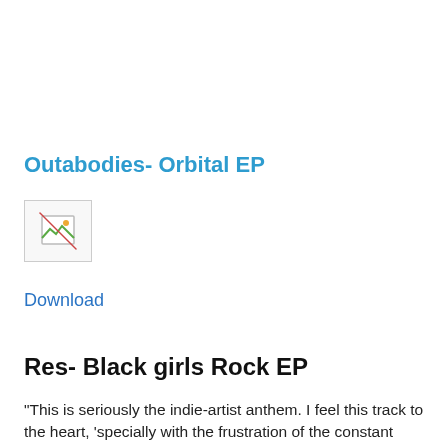Outabodies- Orbital EP
[Figure (illustration): Broken/missing image placeholder icon with a small image icon inside a bordered box]
Download
Res- Black girls Rock EP
"This is seriously the indie-artist anthem. I feel this track to the heart, 'specially with the frustration of the constant cog-stravaganza the machine stays cranking out. Tii'ed of it.